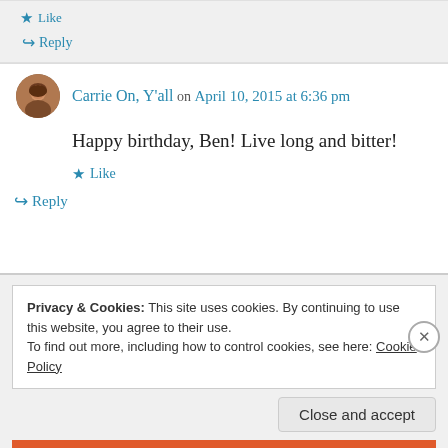★ Like
↳ Reply
Carrie On, Y'all on April 10, 2015 at 6:36 pm
Happy birthday, Ben! Live long and bitter!
★ Like
↳ Reply
Privacy & Cookies: This site uses cookies. By continuing to use this website, you agree to their use. To find out more, including how to control cookies, see here: Cookie Policy
Close and accept